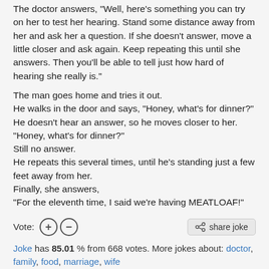The doctor answers, "Well, here’s something you can try on her to test her hearing. Stand some distance away from her and ask her a question. If she doesn’t answer, move a little closer and ask again. Keep repeating this until she answers. Then you’ll be able to tell just how hard of hearing she really is."
The man goes home and tries it out.
He walks in the door and says, "Honey, what’s for dinner?"
He doesn’t hear an answer, so he moves closer to her.
"Honey, what’s for dinner?"
Still no answer.
He repeats this several times, until he’s standing just a few feet away from her.
Finally, she answers,
"For the eleventh time, I said we’re having MEATLOAF!"
Vote: [+] [-]   share joke
Joke has 85.01 % from 668 votes. More jokes about: doctor, family, food, marriage, wife